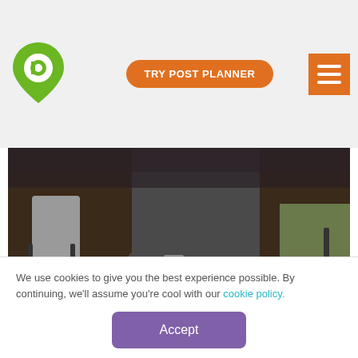Post Planner — TRY POST PLANNER
[Figure (photo): People sitting on chairs, legs visible, wooden floor, AMC watermark at bottom left]
© AMC
Have you ever tried having a conversation with yourself?
We use cookies to give you the best experience possible. By continuing, we'll assume you're cool with our cookie policy.